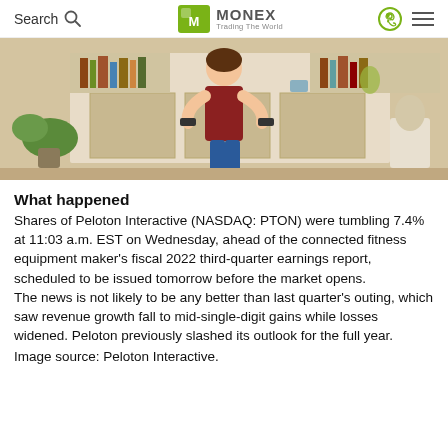Search | MONEX Trading The World
[Figure (photo): A person doing a fitness exercise at home, with bookshelves and plants visible in the background. Peloton Interactive promotional/product image.]
What happened
Shares of Peloton Interactive (NASDAQ: PTON) were tumbling 7.4% at 11:03 a.m. EST on Wednesday, ahead of the connected fitness equipment maker's fiscal 2022 third-quarter earnings report, scheduled to be issued tomorrow before the market opens. The news is not likely to be any better than last quarter's outing, which saw revenue growth fall to mid-single-digit gains while losses widened. Peloton previously slashed its outlook for the full year.
Image source: Peloton Interactive.